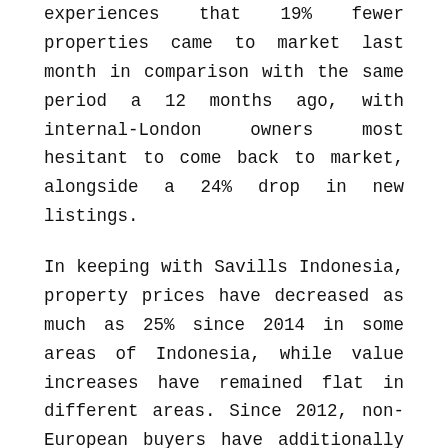experiences that 19% fewer properties came to market last month in comparison with the same period a 12 months ago, with internal-London owners most hesitant to come back to market, alongside a 24% drop in new listings.
In keeping with Savills Indonesia, property prices have decreased as much as 25% since 2014 in some areas of Indonesia, while value increases have remained flat in different areas. Since 2012, non-European buyers have additionally been getting into the Portuguese property market in increasingly massive numbers because of the introduction of the Golden Residence Permit, which permits property buyers to obtain residence permits.
Property News DotProperty